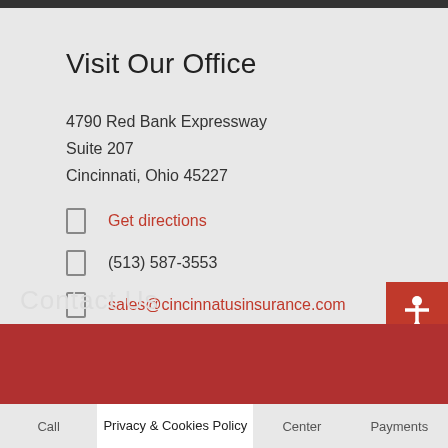Visit Our Office
4790 Red Bank Expressway
Suite 207
Cincinnati, Ohio 45227
Get directions
(513) 587-3553
sales@cincinnatusinsurance.com
[Figure (illustration): Red accessibility icon button on right side]
[Figure (illustration): Blue Facebook Messenger button]
Contact Us
Call | Privacy & Cookies Policy | Center | Payments